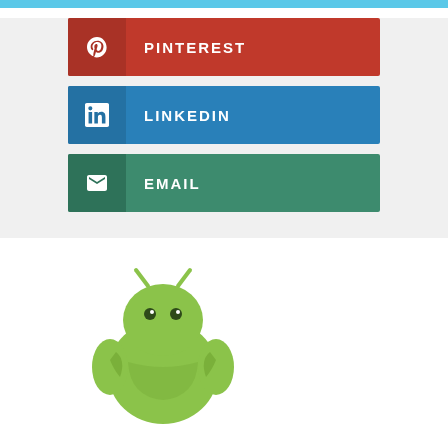[Figure (infographic): Social share buttons: Pinterest (red), LinkedIn (blue), Email (green)]
[Figure (illustration): Android robot mascot illustration, green color, arms crossed]
About tnews
WEBSITE
YOU MIGHT ALSO LIKE
[Figure (photo): Thumbnail image, dark tones]
MISC